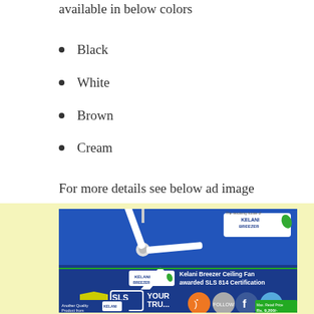available in below colors
Black
White
Brown
Cream
For more details see below ad image
[Figure (photo): Kelani Breezer Ceiling Fan advertisement showing a white ceiling fan on a blue background, with text 'Kelani Breezer Ceiling Fan awarded SLS 814 Certification', SLS 814 logo, social media icons (RSS, Follow, Facebook, Twitter), and product info 'Another Quality Product from Kelani Cables', Max Retail Price Rs. 9,200/-]